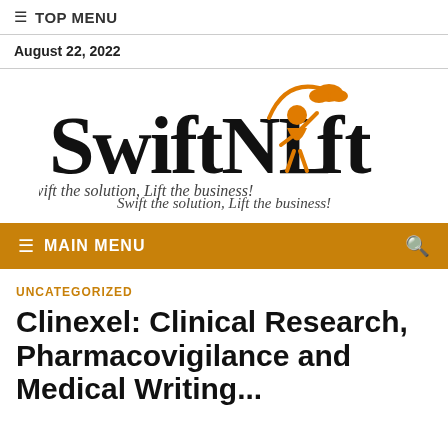☰ TOP MENU
August 22, 2022
[Figure (logo): SwiftNLift logo with orange figure and arc, tagline: Swift the solution, Lift the business!]
☰ MAIN MENU
UNCATEGORIZED
Clinexel: Clinical Research, Pharmacovigilance and Medical Writing...